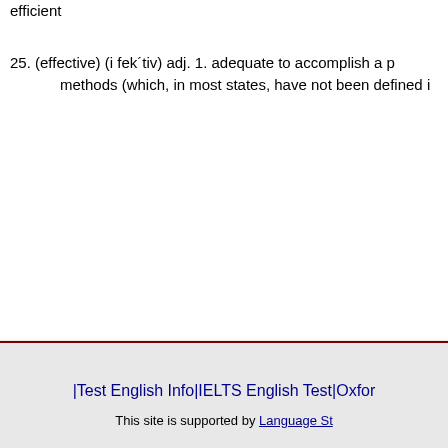efficient
25. (effective) (i fek´tiv) adj. 1. adequate to accomplish a p methods (which, in most states, have not been defined i
|Test English Info|IELTS English Test|Oxfor This site is supported by Language St